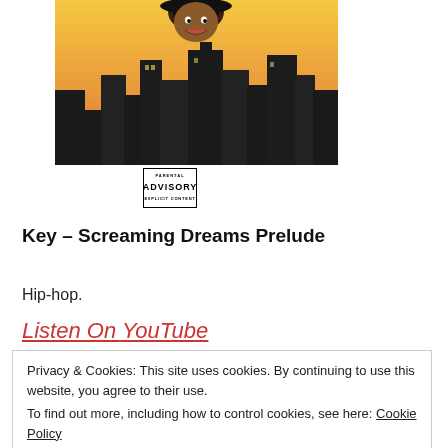[Figure (illustration): Album cover artwork showing an illustrated city skyline at sunset with a figure wearing a hat visible at the top, yellow/orange sky background]
[Figure (logo): Parental Advisory Explicit Content label - black and white rectangular sticker]
Key – Screaming Dreams Prelude
Hip-hop.
Listen On YouTube
Download For Free
Privacy & Cookies: This site uses cookies. By continuing to use this website, you agree to their use. To find out more, including how to control cookies, see here: Cookie Policy
Close and accept